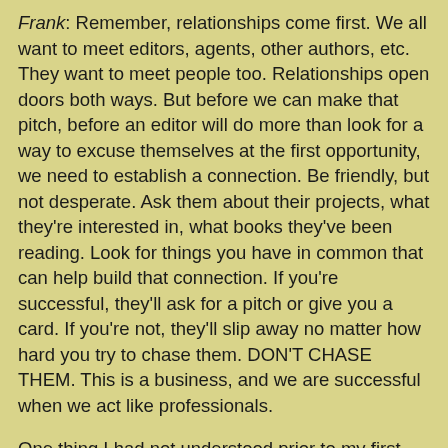Frank: Remember, relationships come first. We all want to meet editors, agents, other authors, etc. They want to meet people too. Relationships open doors both ways. But before we can make that pitch, before an editor will do more than look for a way to excuse themselves at the first opportunity, we need to establish a connection. Be friendly, but not desperate. Ask them about their projects, what they're interested in, what books they've been reading. Look for things you have in common that can help build that connection. If you're successful, they'll ask for a pitch or give you a card. If you're not, they'll slip away no matter how hard you try to chase them. DON'T CHASE THEM. This is a business, and we are successful when we act like professionals.
One thing I had not understood prior to my first WFC is that many agents don't really want a full pitch, although some do, so be prepared! I butchered my first live pitch, but thankfully the agent took the time to explain why I was so awful. She wouldn't have if I hadn't made a solid connection first. For those agents who do not want a full pitch, they'll give you